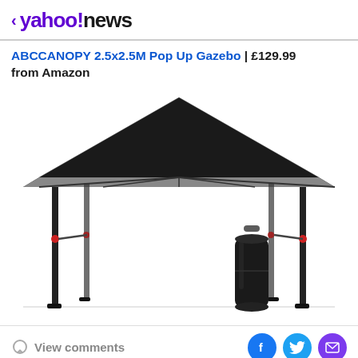< yahoo!news
ABCCANOPY 2.5x2.5M Pop Up Gazebo | £129.99 from Amazon
[Figure (photo): Black pop-up gazebo canopy with metal frame and carrying bag, shown on white background]
View comments